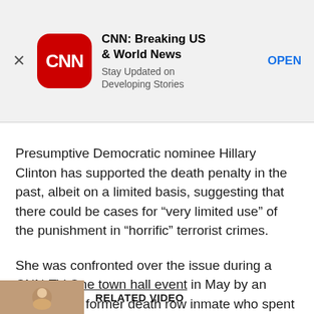[Figure (screenshot): CNN app advertisement banner with close button (X), red CNN logo icon, app title 'CNN: Breaking US & World News', subtitle 'Stay Updated on Developing Stories', and an OPEN button link]
Presumptive Democratic nominee Hillary Clinton has supported the death penalty in the past, albeit on a limited basis, suggesting that there could be cases for “very limited use” of the punishment in “horrific” terrorist crimes.
She was confronted over the issue during a CNN-TV One town hall event in May by an exonerated former death row inmate who spent 39 years in jail for a murder he did not commit.
RELATED VIDEO